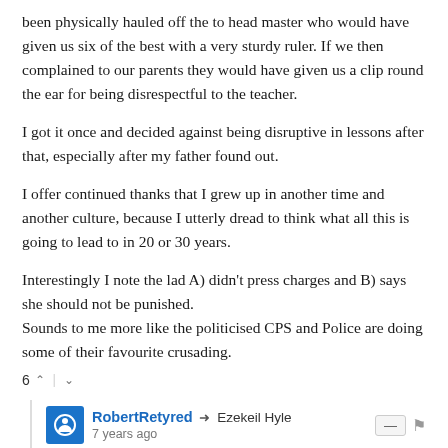been physically hauled off the to head master who would have given us six of the best with a very sturdy ruler. If we then complained to our parents they would have given us a clip round the ear for being disrespectful to the teacher.
I got it once and decided against being disruptive in lessons after that, especially after my father found out.
I offer continued thanks that I grew up in another time and another culture, because I utterly dread to think what all this is going to lead to in 20 or 30 years.
Interestingly I note the lad A) didn't press charges and B) says she should not be punished.
Sounds to me more like the politicised CPS and Police are doing some of their favourite crusading.
6 ^ | v
RobertRetyred → Ezekeil Hyle
7 years ago
No wonder ...
More than half of teachers consider quitting in the next